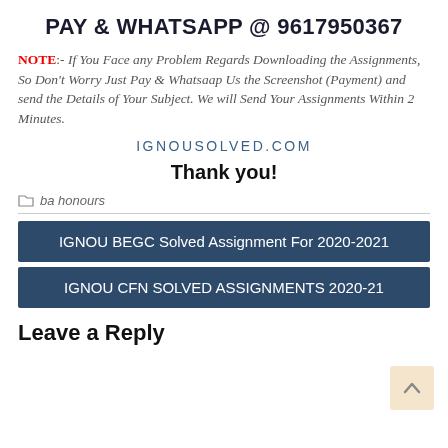PAY & WHATSAPP @ 9617950367
NOTE:- If You Face any Problem Regards Downloading the Assignments, So Don't Worry Just Pay & Whatsaap Us the Screenshot (Payment) and send the Details of Your Subject. We will Send Your Assignments Within 2 Minutes.
IGNOUSOLVED.COM
Thank you!
ba honours
IGNOU BEGC Solved Assignment For 2020-2021
IGNOU CFN SOLVED ASSIGNMENTS 2020-21
Leave a Reply